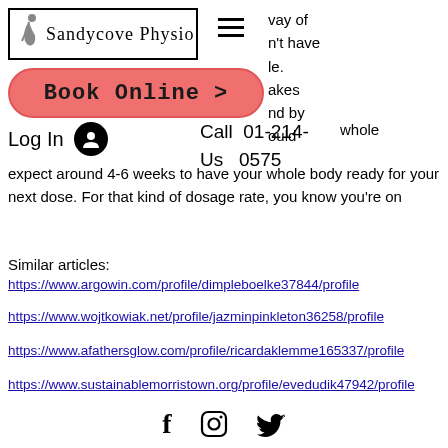Sandycove Physio — navigation header with logo, hamburger menu, Book Online button, Log In, and Call Us 01-214-0575
expect around 4-6 weeks to have your whole body ready for your next dose. For that kind of dosage rate, you know you're on
Similar articles:
https://www.argowin.com/profile/dimpleboelke37844/profile
https://www.wojtkowiak.net/profile/jazminpinkleton36258/profile
https://www.afathersglow.com/profile/ricardaklemme165337/profile
https://www.sustainablemorristown.org/profile/evedudik47942/profile
Social media icons: Facebook, Instagram, Twitter